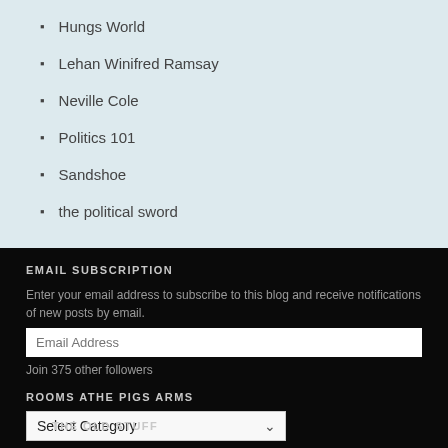Hungs World
Lehan Winifred Ramsay
Neville Cole
Politics 101
Sandshoe
the political sword
EMAIL SUBSCRIPTION
Enter your email address to subscribe to this blog and receive notifications of new posts by email.
Join 375 other followers
ROOMS ATHE PIGS ARMS
Select Category
THE OLD STUFF